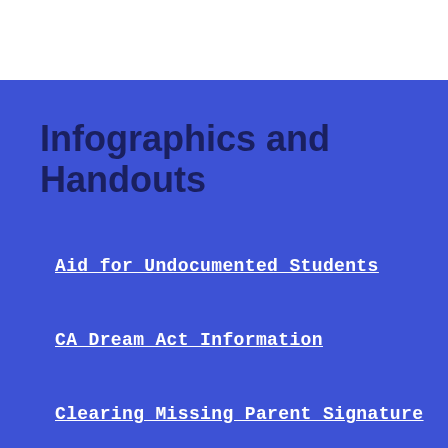Infographics and Handouts
Aid for Undocumented Students
CA Dream Act Information
Clearing Missing Parent Signature